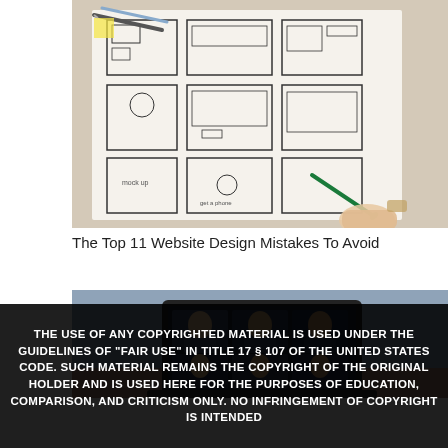[Figure (photo): Photo of a person's hands working on wireframe sketches/UI mockups drawn on paper, with markers nearby on a desk.]
The Top 11 Website Design Mistakes To Avoid
[Figure (photo): Photo of a laptop screen showing a video conference call with multiple participants visible in a grid layout.]
THE USE OF ANY COPYRIGHTED MATERIAL IS USED UNDER THE GUIDELINES OF "FAIR USE" IN TITLE 17 § 107 OF THE UNITED STATES CODE. SUCH MATERIAL REMAINS THE COPYRIGHT OF THE ORIGINAL HOLDER AND IS USED HERE FOR THE PURPOSES OF EDUCATION, COMPARISON, AND CRITICISM ONLY. NO INFRINGEMENT OF COPYRIGHT IS INTENDED